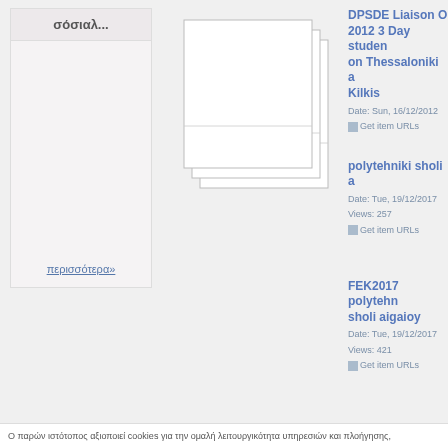σόσιαλ...
περισσότερα»
[Figure (illustration): Stack of document/photo cards arranged in a staggered pile]
DPSDE Liaison O 2012 3 Day student on Thessaloniki a Kilkis
Date: Sun, 16/12/2012
Get item URLs
polytehniki sholi a
Date: Tue, 19/12/2017
Views: 257
Get item URLs
FEK2017 polytehn sholi aigaioy
Date: Tue, 19/12/2017
Views: 421
Get item URLs
Ο παρών ιστότοπος αξιοποιεί cookies για την ομαλή λειτουργικότητα υπηρεσιών και πλοήγησης.